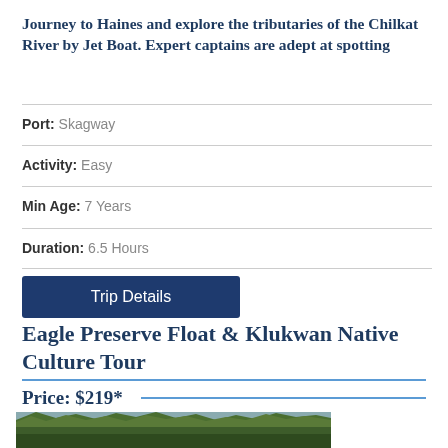Journey to Haines and explore the tributaries of the Chilkat River by Jet Boat. Expert captains are adept at spotting
Port: Skagway
Activity: Easy
Min Age: 7 Years
Duration: 6.5 Hours
Trip Details
Eagle Preserve Float & Klukwan Native Culture Tour
Price: $219*
[Figure (photo): Forest/treeline landscape photo at the bottom of the page]